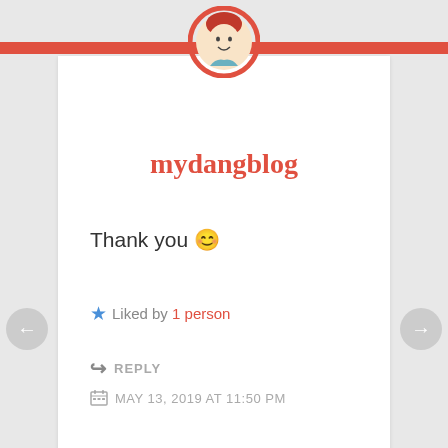[Figure (illustration): Avatar icon of a person with red hair in a red circle, positioned at top center above a red horizontal bar]
mydangblog
Thank you 😊
★ Liked by 1 person
↪ REPLY
MAY 13, 2019 AT 11:50 PM
[Figure (illustration): Teal geometric snowflake/diamond pattern avatar in a gray circle, positioned at center divider between two comment cards]
ruthsoaper